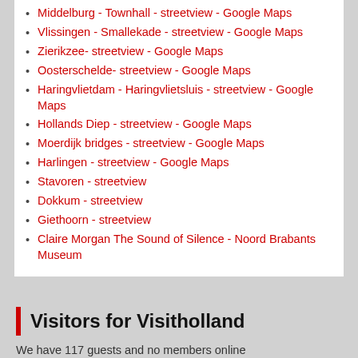Middelburg - Townhall - streetview - Google Maps
Vlissingen - Smallekade - streetview - Google Maps
Zierikzee- streetview - Google Maps
Oosterschelde- streetview - Google Maps
Haringvlietdam - Haringvlietsluis - streetview - Google Maps
Hollands Diep - streetview - Google Maps
Moerdijk bridges - streetview - Google Maps
Harlingen - streetview - Google Maps
Stavoren - streetview
Dokkum - streetview
Giethoorn - streetview
Claire Morgan The Sound of Silence - Noord Brabants Museum
Visitors for Visitholland
We have 117 guests and no members online